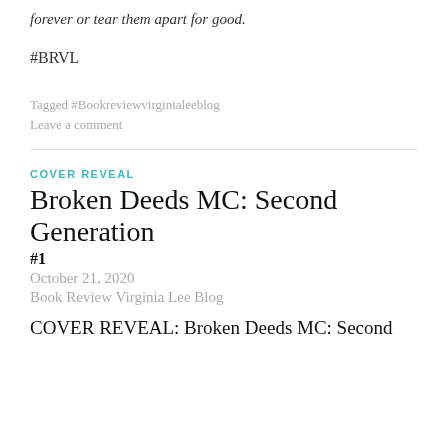forever or tear them apart for good.
#BRVL
Tagged #Bookreviewvirginialeeblog
Leave a comment
COVER REVEAL
Broken Deeds MC: Second Generation
#1
October 21, 2020
Book Review Virginia Lee Blog
COVER REVEAL: Broken Deeds MC: Second